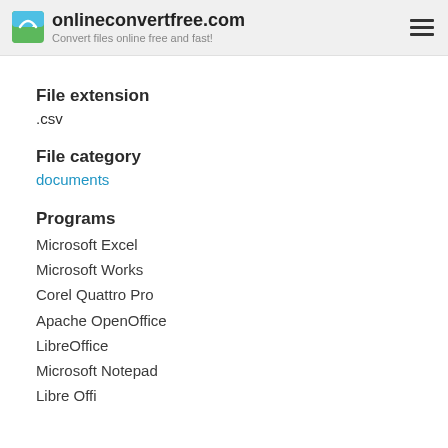onlineconvertfree.com — Convert files online free and fast!
File extension
.csv
File category
documents
Programs
Microsoft Excel
Microsoft Works
Corel Quattro Pro
Apache OpenOffice
LibreOffice
Microsoft Notepad
Libre Office